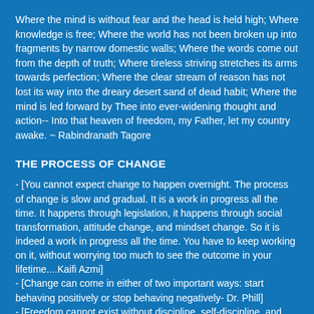Where the mind is without fear and the head is held high; Where knowledge is free; Where the world has not been broken up into fragments by narrow domestic walls; Where the words come out from the depth of truth; Where tireless striving stretches its arms towards perfection; Where the clear stream of reason has not lost its way into the dreary desert sand of dead habit; Where the mind is led forward by Thee into ever-widening thought and action-- Into that heaven of freedom, my Father, let my country awake. ~ Rabindranath Tagore
THE PROCESS OF CHANGE
- [You cannot expect change to happen overnight. The process of change is slow and gradual. It is a work in progress all the time. It happens through legislation, it happens through social transformation, attitude change, and mindset change. So it is indeed a work in progress all the time. You have to keep working on it, without worrying too much to see the outcome in your lifetime....Kaifi Azmi]
- [Change can come in either of two important ways: start behaving positively or stop behaving negatively- Dr. Phill]
- [Freedom cannot exist without discipline, self-discipline, and rights cannot exist without duties. Those who do not observe their duties...